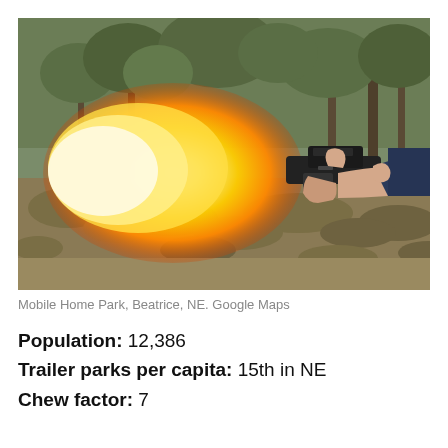[Figure (photo): A hand holding a pistol firing a large muzzle flash in an outdoor wooded/scrubland area. The scene shows trees in the background and dry brush on the ground. The gun is being fired to the left with a large orange fireball at the muzzle.]
Mobile Home Park, Beatrice, NE. Google Maps
Population: 12,386
Trailer parks per capita: 15th in NE
Chew factor: 7